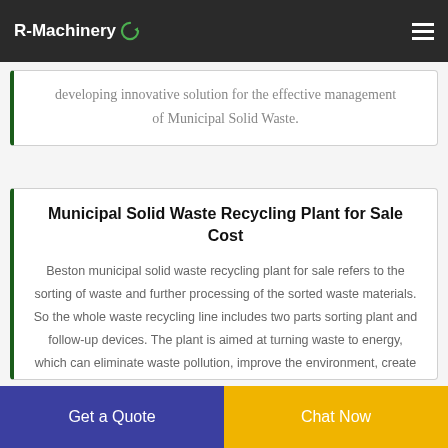R-Machinery
developing innovative solution for the effective management of Municipal Solid Waste.
Municipal Solid Waste Recycling Plant for Sale Cost
Beston municipal solid waste recycling plant for sale refers to the sorting of waste and further processing of the sorted waste materials. So the whole waste recycling line includes two parts sorting plant and follow-up devices. The plant is aimed at turning waste to energy, which can eliminate waste pollution, improve the environment, create profits and benefit the next